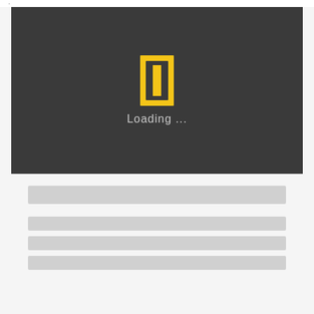·
[Figure (screenshot): National Geographic loading screen with yellow rectangular logo on dark gray background and 'Loading ...' text below]
[Figure (screenshot): Skeleton loading placeholder with gray bars representing content below the video player]